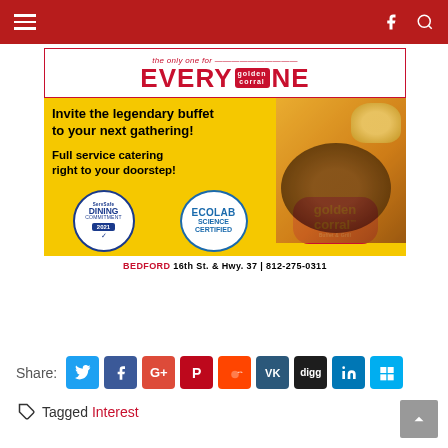Navigation bar with hamburger menu, Facebook and search icons
[Figure (illustration): Golden Corral advertisement: 'the only one for EVERYONE' headline with golden background, food photography (steak, rolls), text 'Invite the legendary buffet to your next gathering! Full service catering right to your doorstep!', ServSafe Dining Commitment 2021 badge, Ecolab Science Certified badge, Golden Corral Buffet & Grill logo, address: BEDFORD 16th St. & Hwy. 37 | 812-275-0311]
Share:
Tagged Interest